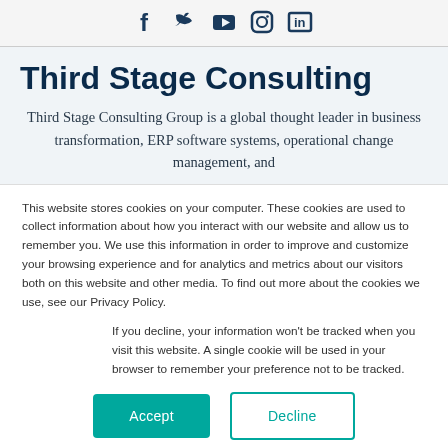[Figure (illustration): Social media icons for Facebook, Twitter, YouTube, Instagram, and LinkedIn displayed in a row]
Third Stage Consulting
Third Stage Consulting Group is a global thought leader in business transformation, ERP software systems, operational change management, and
This website stores cookies on your computer. These cookies are used to collect information about how you interact with our website and allow us to remember you. We use this information in order to improve and customize your browsing experience and for analytics and metrics about our visitors both on this website and other media. To find out more about the cookies we use, see our Privacy Policy.
If you decline, your information won't be tracked when you visit this website. A single cookie will be used in your browser to remember your preference not to be tracked.